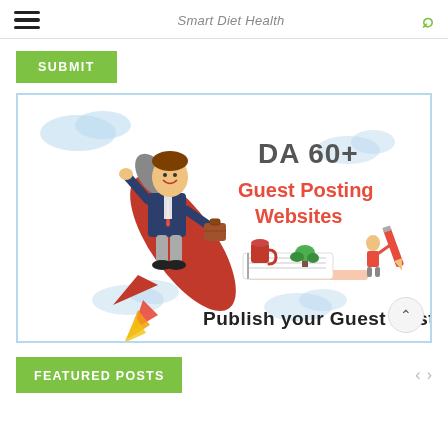Smart Diet Health
SUBMIT
[Figure (illustration): Promotional illustration for DA 60+ Guest Posting Websites - shows a cartoon businessman riding a rocket, with text 'DA 60+ Guest Posting Websites' and 'Publish your Guest Post', plus a small figure writing on a notepad with office supplies]
FEATURED POSTS